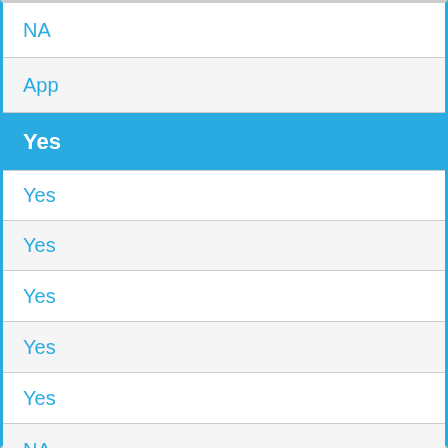| NA |
| App |
| Yes |
| Yes |
| Yes |
| Yes |
| Yes |
| Yes |
| NA |
| GPS Based Search |